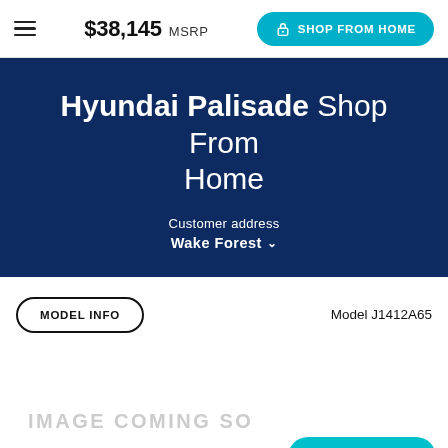$38,145 MSRP  SHOP FROM HOME
Hyundai Palisade Shop From Home
Customer address
Wake Forest
MODEL INFO
Model J1412A65
[Figure (other): IMAGE COMING SOON placeholder]
NEED HELP?